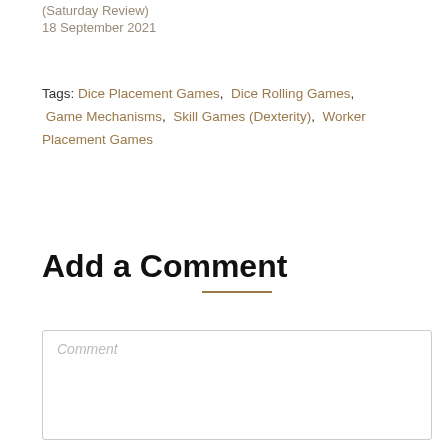(Saturday Review)
18 September 2021
Tags: Dice Placement Games, Dice Rolling Games, Game Mechanisms, Skill Games (Dexterity), Worker Placement Games
Add a Comment
Comment